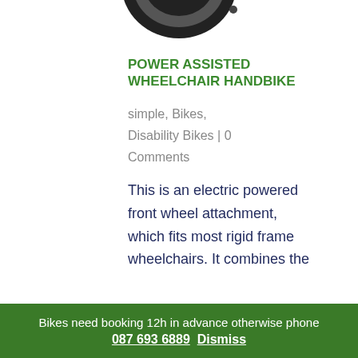[Figure (photo): Partial view of a wheelchair wheel/handbike at the top of the page, cropped]
POWER ASSISTED WHEELCHAIR HANDBIKE
simple, Bikes,
Disability Bikes | 0 Comments
This is an electric powered front wheel attachment, which fits most rigid frame wheelchairs. It combines the
Bikes need booking 12h in advance otherwise phone 087 693 6889 Dismiss